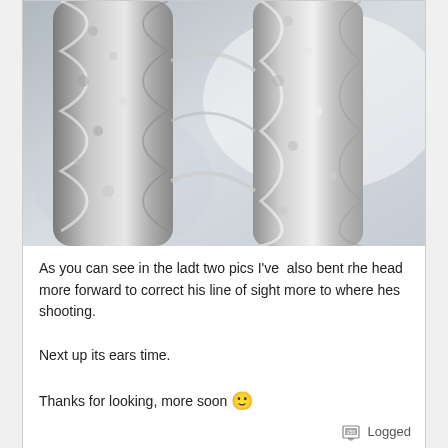[Figure (photo): Close-up photo of a silver metallic twisted/spiral structure, possibly a sculpted figure or jewelry piece, with a blurry light background]
As you can see in the ladt two pics I've  also bent rhe head more forward to correct his line of sight more to where hes shooting.

Next up its ears time.

Thanks for looking, more soon 🙂
Logged
'Your knowledge of scientific biological transmogrification is only outmatched by your zest for kung-fu treachery!' ~ Black Dynamite
March 05, 2016, 07:51:58 PM
Reply #15